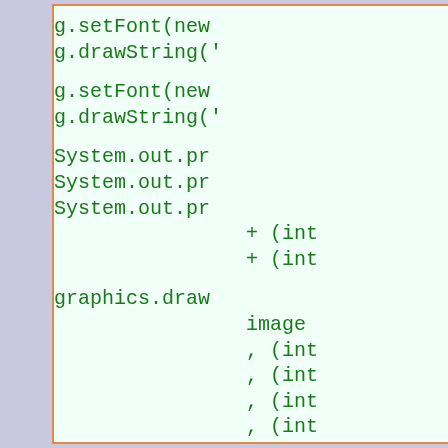g.setFont(new
g.drawString('

g.setFont(new
g.drawString('

System.out.pr
System.out.pr
System.out.pr
    + (int
    + (int

graphics.draw
    image
    , (int
    , (int
    , (int
    , (int
    , nul

return PAGE_E